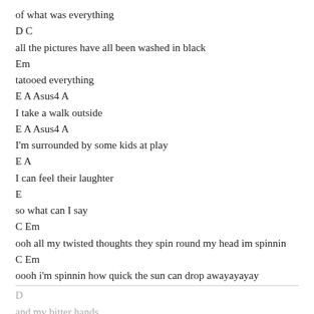of what was everything
D C
all the pictures have all been washed in black
Em
tatooed everything
E A Asus4 A
I take a walk outside
E A Asus4 A
I'm surrounded by some kids at play
E A
I can feel their laughter
E
so what can I say
C Em
ooh all my twisted thoughts they spin round my head im spinnin
C Em
oooh i'm spinnin how quick the sun can drop awayayayay
D
and my bitter hands
C